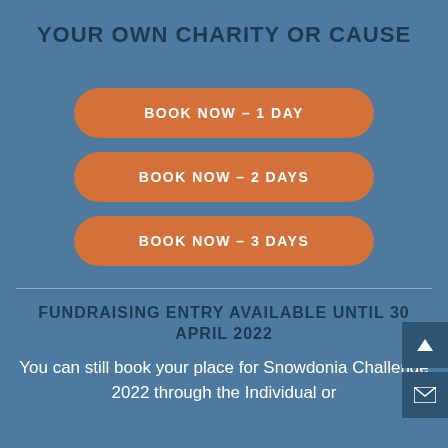YOUR OWN CHARITY OR CAUSE
BOOK NOW – 1 DAY
BOOK NOW – 2 DAYS
BOOK NOW – 3 DAYS
FUNDRAISING ENTRY AVAILABLE UNTIL 30 APRIL 2022
You can still book your place for Snowdonia Challenge 2022 through the Individual or Team Entry options within our